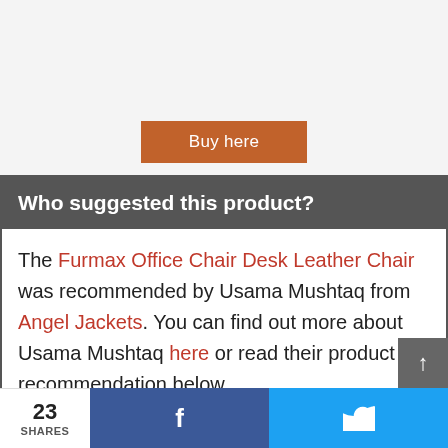Buy here
Who suggested this product?
The Furmax Office Chair Desk Leather Chair was recommended by Usama Mushtaq from Angel Jackets. You can find out more about Usama Mushtaq here or read their product recommendation below
23 SHARES  f  Twitter